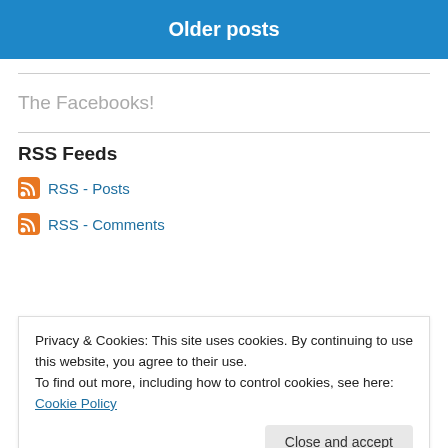Older posts
The Facebooks!
RSS Feeds
RSS - Posts
RSS - Comments
Privacy & Cookies: This site uses cookies. By continuing to use this website, you agree to their use.
To find out more, including how to control cookies, see here: Cookie Policy
Close and accept
[Figure (screenshot): Read my blog on Kindle banner with Subscribe button]